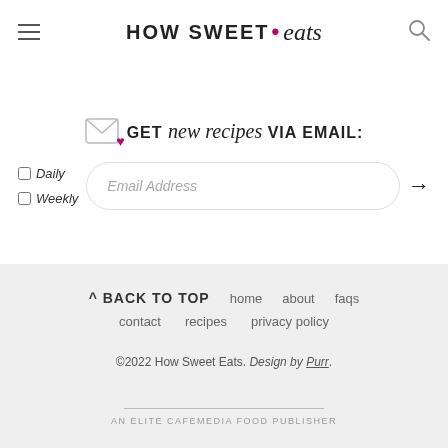HOW SWEET • eats
GET new recipes VIA EMAIL:
Daily
Weekly
Email Address →
^ BACK TO TOP   home   about   faqs   contact   recipes   privacy policy
©2022 How Sweet Eats. Design by Purr.
AN ELITE CAFEMEDIA FOOD PUBLISHER